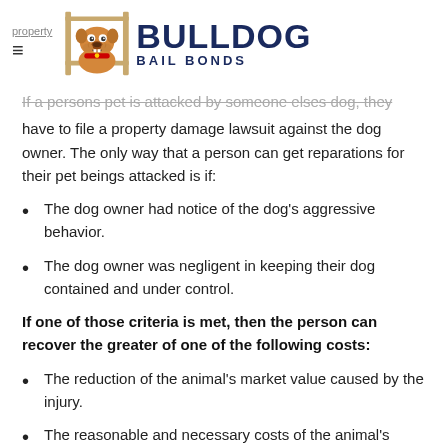property | Bulldog Bail Bonds
If a persons pet is attacked by someone elses dog, they have to file a property damage lawsuit against the dog owner. The only way that a person can get reparations for their pet beings attacked is if:
The dog owner had notice of the dog's aggressive behavior.
The dog owner was negligent in keeping their dog contained and under control.
If one of those criteria is met, then the person can recover the greater of one of the following costs:
The reduction of the animal's market value caused by the injury.
The reasonable and necessary costs of the animal's